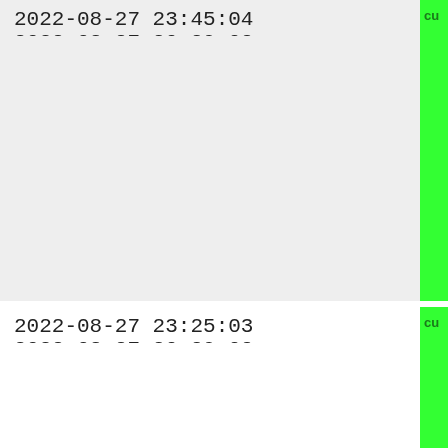| timestamp1 | timestamp2 | status |
| --- | --- | --- |
| 2022-08-27 23:45:04 | 2022-08-27 20:29:02 | cu |
| 2022-08-27 23:25:03 | 2022-08-27 20:29:02 | cu |
| 2022-08-27 23:05:04 | 2022-08-27 20:29:02 | cu |
| 2022-08-27 22:45:03 | 2022-08-27 20:29:02 | cu |